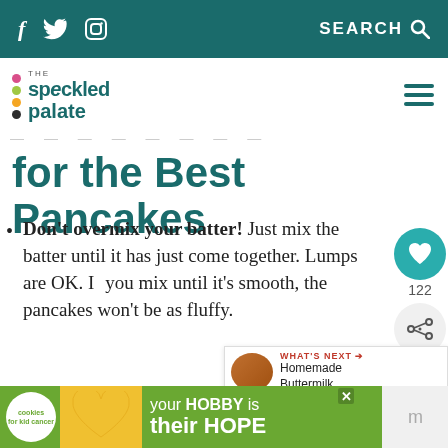f  Twitter  Instagram  SEARCH
[Figure (logo): The Speckled Palate logo with colorful dots and teal text]
for the Best Pancakes
Don't overmix your batter! Just mix the batter until it has just come together. Lumps are OK. If you mix until it's smooth, the pancakes won't be as fluffy.
When do you know how to flip?
[Figure (infographic): Advertisement banner: cookies for kid cancer / your HOBBY is their HOPE with green background and heart image]